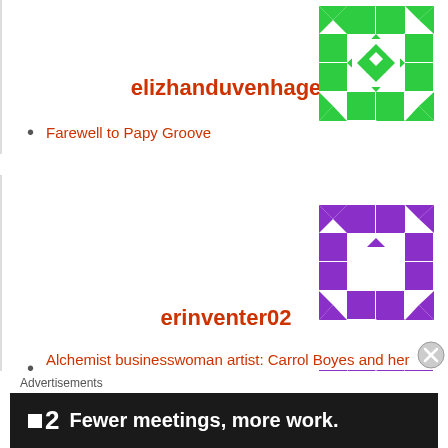[Figure (illustration): Green geometric snowflake/quilt pattern avatar in top right corner]
elizhanduvenhage
Farewell to Papy Groove
[Figure (illustration): Purple geometric snowflake/quilt pattern avatar]
erinventer02
Alchemist businesswoman artist: Carrol Boyes and her dreams
[Figure (illustration): Purple geometric snowflake/quilt pattern avatar with purple center]
Geoff Sifrin
Advertisements
[Figure (screenshot): Advertisement banner: Plan2 logo with text 'Fewer meetings, more work.']